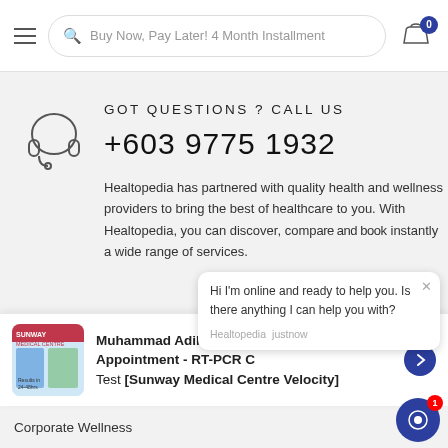Buy Now, Pay Later! 4 Month Installment
GOT QUESTIONS ? CALL US
+603 9775 1932
Healtopedia has partnered with quality health and wellness providers to bring the best of healthcare to you. With Healtopedia, you can discover, compare and book instantly a wide range of services.
Hi I'm online and ready to help you. Is there anything I can help you with?
Muhammad Adib recently purchased Walk-In Appointment - RT-PCR C Test [Sunway Medical Centre Velocity]
Corporate Wellness